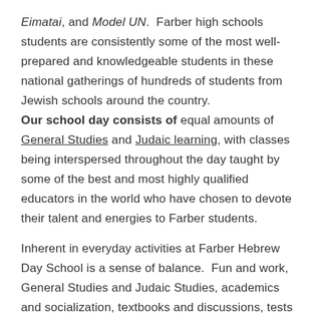Eimatai, and Model UN. Farber high schools students are consistently some of the most well-prepared and knowledgeable students in these national gatherings of hundreds of students from Jewish schools around the country. Our school day consists of equal amounts of General Studies and Judaic learning, with classes being interspersed throughout the day taught by some of the best and most highly qualified educators in the world who have chosen to devote their talent and energies to Farber students.
Inherent in everyday activities at Farber Hebrew Day School is a sense of balance. Fun and work, General Studies and Judaic Studies, academics and socialization, textbooks and discussions, tests and yoga sessions, questions and answers – and always, chessed. It's the balance that creates the sense of well-roundedness that Farber graduates encompass. This is an important part of what makes our